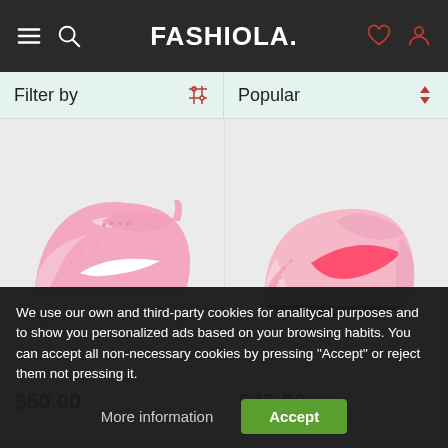FASHIOLA.
Filter by
Popular
[Figure (photo): Pink Nike Air Max toddler sneaker with white sole on light grey background]
[Figure (photo): Pink Nike slip-on toddler sneaker with red swoosh on light grey background]
$50.00
$75.00
We use our own and third-party cookies for analitycal purposes and to show you personalized ads based on your browsing habits. You can accept all non-necessary cookies by pressing "Accept" or reject them not pressing it.
More information
Accept